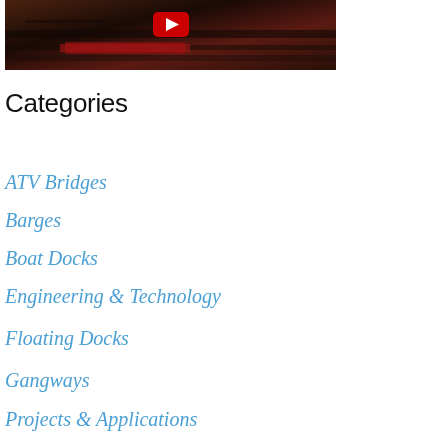[Figure (screenshot): Video thumbnail showing a dark waterway/dock scene with a YouTube play button overlay]
Categories
ATV Bridges
Barges
Boat Docks
Engineering & Technology
Floating Docks
Gangways
Projects & Applications